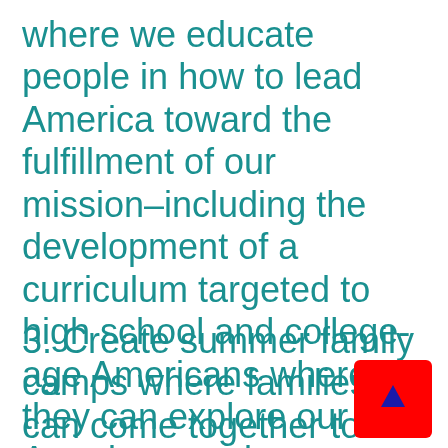where we educate people in how to lead America toward the fulfillment of our mission–including the development of a curriculum targeted to high school and college-age Americans where they can explore our six American goals
3. Create summer family camps where families can come together to celebrate and explore these